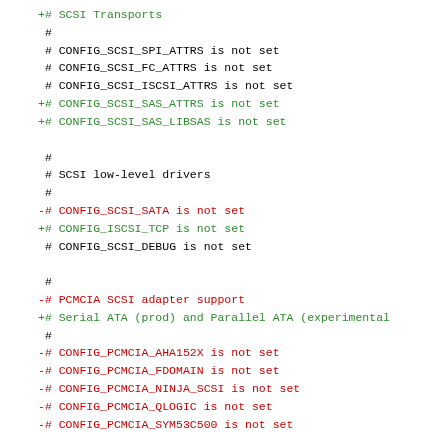+# SCSI Transports
 #
 # CONFIG_SCSI_SPI_ATTRS is not set
 # CONFIG_SCSI_FC_ATTRS is not set
 # CONFIG_SCSI_ISCSI_ATTRS is not set
+# CONFIG_SCSI_SAS_ATTRS is not set
+# CONFIG_SCSI_SAS_LIBSAS is not set

 #
 # SCSI low-level drivers
 #
-# CONFIG_SCSI_SATA is not set
+# CONFIG_ISCSI_TCP is not set
 # CONFIG_SCSI_DEBUG is not set

 #
-# PCMCIA SCSI adapter support
+# Serial ATA (prod) and Parallel ATA (experimental
 #
-# CONFIG_PCMCIA_AHA152X is not set
-# CONFIG_PCMCIA_FDOMAIN is not set
-# CONFIG_PCMCIA_NINJA_SCSI is not set
-# CONFIG_PCMCIA_QLOGIC is not set
-# CONFIG_PCMCIA_SYM53C500 is not set

 #
 # Multi-device support (RAID and LVM)